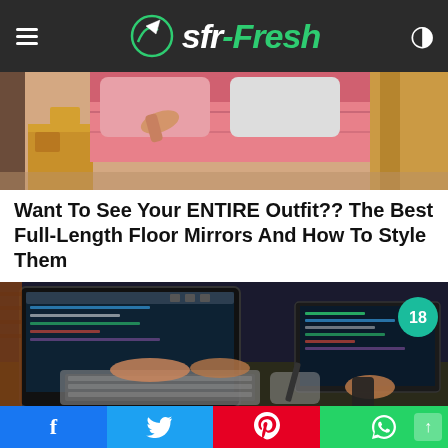Sfr-Fresh
[Figure (photo): Bedroom scene with pink bedding, wooden furniture, and a hand reaching toward an object on a nightstand]
Want To See Your ENTIRE Outfit?? The Best Full-Length Floor Mirrors And How To Style Them
[Figure (photo): Person typing on a keyboard at a dual-monitor computer setup with coding/programming content on screens; badge showing number 18]
Database Business Software Development technology for...
f  Twitter  P  WhatsApp